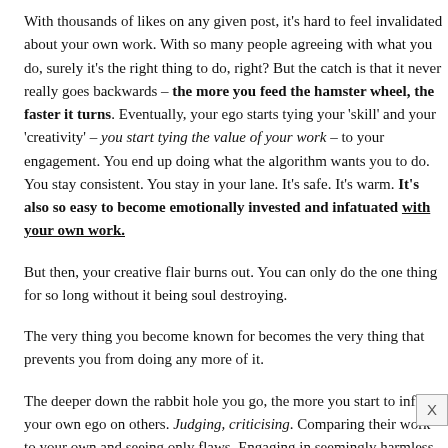With thousands of likes on any given post, it's hard to feel invalidated about your own work. With so many people agreeing with what you do, surely it's the right thing to do, right? But the catch is that it never really goes backwards – the more you feed the hamster wheel, the faster it turns. Eventually, your ego starts tying your 'skill' and your 'creativity' – you start tying the value of your work – to your engagement. You end up doing what the algorithm wants you to do. You stay consistent. You stay in your lane. It's safe. It's warm. It's also so easy to become emotionally invested and infatuated with your own work.
But then, your creative flair burns out. You can only do the one thing for so long without it being soul destroying.
The very thing you become known for becomes the very thing that prevents you from doing any more of it.
The deeper down the rabbit hole you go, the more you start to inflict your own ego on others. Judging, criticising. Comparing their work to your own and seeing only flaws. Engaging in seemingly harmless